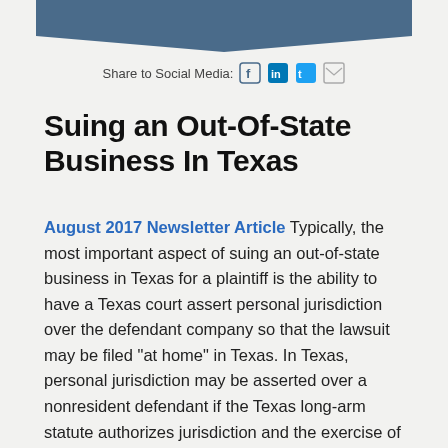[Figure (illustration): Dark teal/blue decorative banner with downward-pointing chevron shape at the top of the page]
Share to Social Media: [Facebook icon] [LinkedIn icon] [Twitter icon] [Email icon]
Suing an Out-Of-State Business In Texas
August 2017 Newsletter Article Typically, the most important aspect of suing an out-of-state business in Texas for a plaintiff is the ability to have a Texas court assert personal jurisdiction over the defendant company so that the lawsuit may be filed "at home" in Texas. In Texas, personal jurisdiction may be asserted over a nonresident defendant if the Texas long-arm statute authorizes jurisdiction and the exercise of jurisdiction meets federal due process requirements. In Texas,